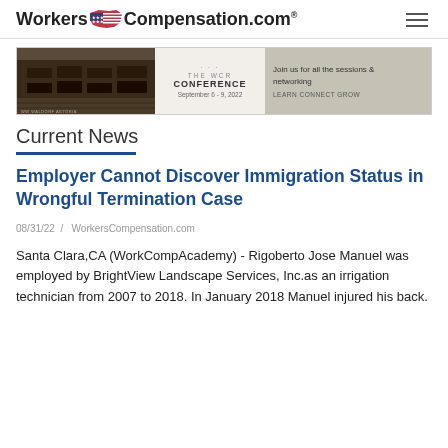WorkersCompensation.com
[Figure (photo): Advertisement banner for The WCR Conference, September 6-9, 2022 at Waldorf Astoria. Join us for all the sessions & networking. LEARN CONNECT GROW.]
Current News
Employer Cannot Discover Immigration Status in Wrongful Termination Case
08/31/22 /  WorkersCompensation.com
Santa Clara,CA (WorkCompAcademy) - Rigoberto Jose Manuel was employed by BrightView Landscape Services, Inc.as an irrigation technician from 2007 to 2018. In January 2018 Manuel injured his back.